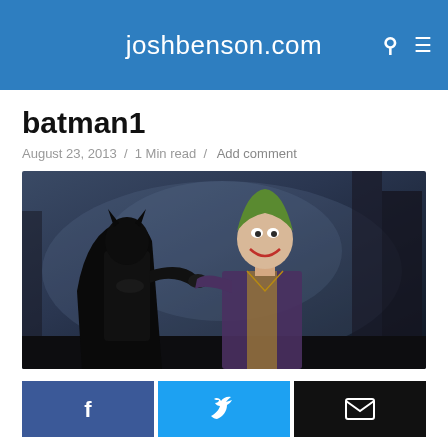joshbenson.com
batman1
August 23, 2013 / 1 Min read / Add comment
[Figure (photo): Scene from Batman (1989) showing Batman and the Joker facing each other in a dark gothic setting. Batman is on the left in his black costume and cowl, the Joker on the right in a purple suit with green hair.]
[Figure (infographic): Social share buttons row: Facebook (dark blue with f icon), Twitter (light blue with bird icon), Email (black with envelope icon)]